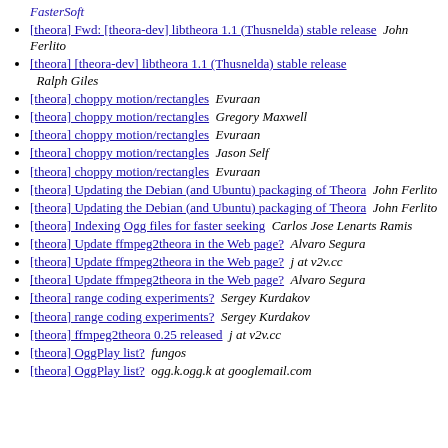FasterSoft
[theora] Fwd: [theora-dev] libtheora 1.1 (Thusnelda) stable release   John Ferlito
[theora] [theora-dev] libtheora 1.1 (Thusnelda) stable release   Ralph Giles
[theora] choppy motion/rectangles   Evuraan
[theora] choppy motion/rectangles   Gregory Maxwell
[theora] choppy motion/rectangles   Evuraan
[theora] choppy motion/rectangles   Jason Self
[theora] choppy motion/rectangles   Evuraan
[theora] Updating the Debian (and Ubuntu) packaging of Theora   John Ferlito
[theora] Updating the Debian (and Ubuntu) packaging of Theora   John Ferlito
[theora] Indexing Ogg files for faster seeking   Carlos Jose Lenarts Ramis
[theora] Update ffmpeg2theora in the Web page?   Alvaro Segura
[theora] Update ffmpeg2theora in the Web page?   j at v2v.cc
[theora] Update ffmpeg2theora in the Web page?   Alvaro Segura
[theora] range coding experiments?   Sergey Kurdakov
[theora] range coding experiments?   Sergey Kurdakov
[theora] ffmpeg2theora 0.25 released   j at v2v.cc
[theora] OggPlay list?   fungos
[theora] OggPlay list?   ogg.k.ogg.k at googlemail.com